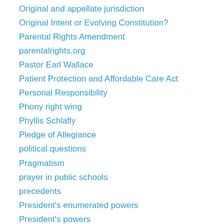Original and appellate jurisdiction
Original Intent or Evolving Constitution?
Parental Rights Amendment
parentalrights.org
Pastor Earl Wallace
Patient Protection and Affordable Care Act
Personal Responsibility
Phony right wing
Phyllis Schlafly
Pledge of Allegiance
political questions
Pragmatism
prayer in public schools
precedents
President's enumerated powers
President's powers
Presidential Electors
prevailing dogma
privileges and immunities
Professor David Super